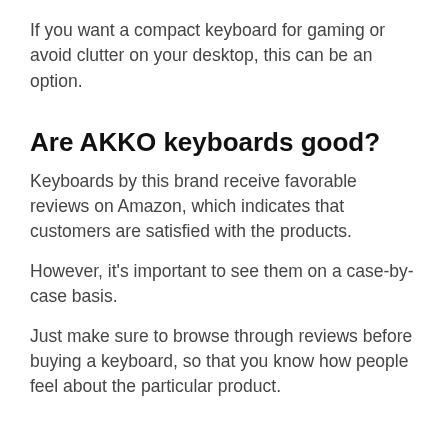If you want a compact keyboard for gaming or avoid clutter on your desktop, this can be an option.
Are AKKO keyboards good?
Keyboards by this brand receive favorable reviews on Amazon, which indicates that customers are satisfied with the products.
However, it's important to see them on a case-by-case basis.
Just make sure to browse through reviews before buying a keyboard, so that you know how people feel about the particular product.